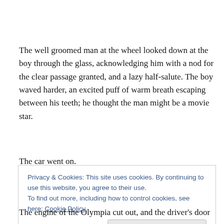The well groomed man at the wheel looked down at the boy through the glass, acknowledging him with a nod for the clear passage granted, and a lazy half-salute. The boy waved harder, an excited puff of warm breath escaping between his teeth; he thought the man might be a movie star.
The car went on.
Privacy & Cookies: This site uses cookies. By continuing to use this website, you agree to their use.
To find out more, including how to control cookies, see here: Cookie Policy
The engine of the Olympia cut out, and the driver's door